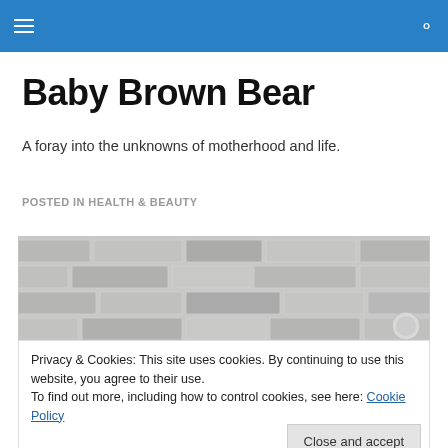Baby Brown Bear [navigation header with hamburger menu and search icon]
Baby Brown Bear
A foray into the unknowns of motherhood and life.
POSTED IN HEALTH & BEAUTY
[Figure (photo): Brick wall background with partial view of a circular object, and large '2018' text visible at the bottom]
Privacy & Cookies: This site uses cookies. By continuing to use this website, you agree to their use.
To find out more, including how to control cookies, see here: Cookie Policy
Close and accept